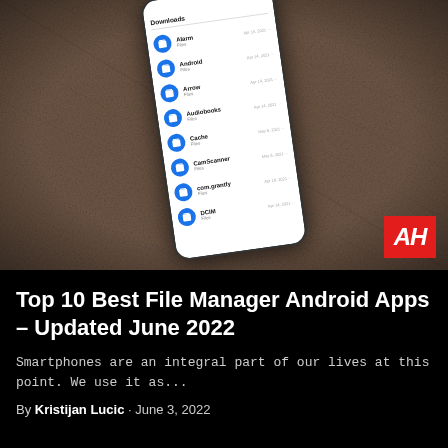[Figure (photo): A smartphone displaying a file manager app with a list of folders (Alarm, Android, Arrow, Audiobooks, Cache, CamScanner, com.grantly, DCim) shown as blue circular folder icons with file details and dates. The phone is placed on a brown textile/fabric surface at a slight angle. An AH (Android Headlines) logo in red is visible in the bottom right corner of the image.]
Top 10 Best File Manager Android Apps – Updated June 2022
Smartphones are an integral part of our lives at this point. We use it as...
By Kristijan Lucic · June 3, 2022